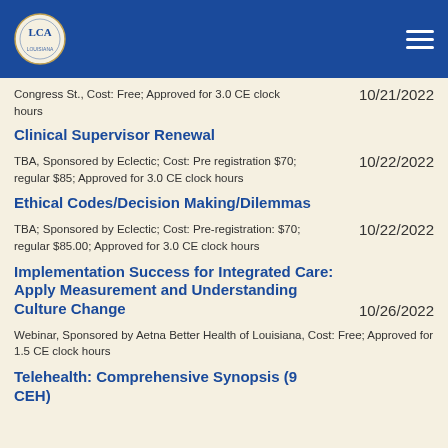LCA logo and navigation
Congress St., Cost: Free; Approved for 3.0 CE clock hours
Clinical Supervisor Renewal
TBA, Sponsored by Eclectic; Cost: Pre registration $70; regular $85; Approved for 3.0 CE clock hours
Ethical Codes/Decision Making/Dilemmas
TBA; Sponsored by Eclectic; Cost: Pre-registration: $70; regular $85.00; Approved for 3.0 CE clock hours
Implementation Success for Integrated Care: Apply Measurement and Understanding Culture Change
Webinar, Sponsored by Aetna Better Health of Louisiana, Cost: Free; Approved for 1.5 CE clock hours
Telehealth: Comprehensive Synopsis (9 CEH)